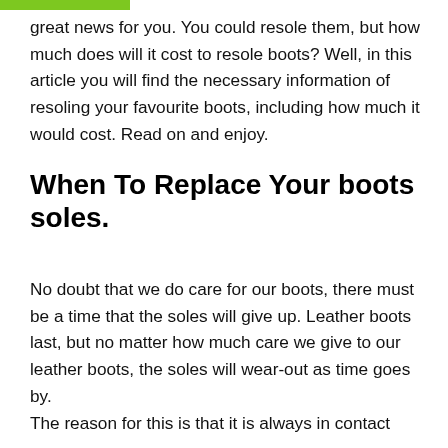great news for you. You could resole them, but how much does will it cost to resole boots? Well, in this article you will find the necessary information of resoling your favourite boots, including how much it would cost. Read on and enjoy.
When To Replace Your boots soles.
No doubt that we do care for our boots, there must be a time that the soles will give up. Leather boots last, but no matter how much care we give to our leather boots, the soles will wear-out as time goes by.
The reason for this is that it is always in contact